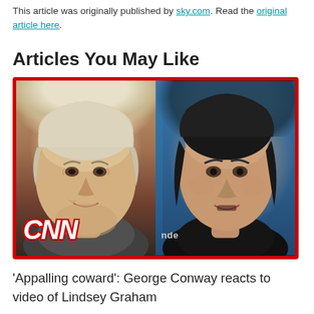This article was originally published by sky.com. Read the original article here.
Articles You May Like
[Figure (photo): CNN news thumbnail showing two people side-by-side: Lindsey Graham on the left with CNN logo overlay, and George Conway on the right against a blue background]
'Appalling coward': George Conway reacts to video of Lindsey Graham